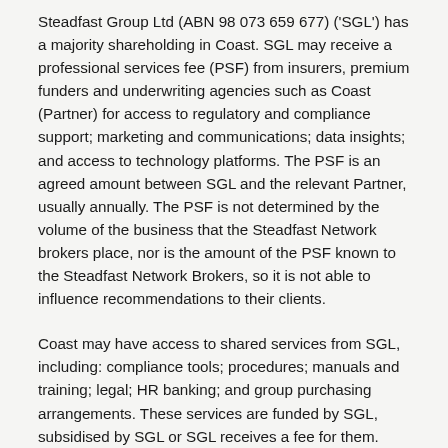Steadfast Group Ltd (ABN 98 073 659 677) ('SGL') has a majority shareholding in Coast. SGL may receive a professional services fee (PSF) from insurers, premium funders and underwriting agencies such as Coast (Partner) for access to regulatory and compliance support; marketing and communications; data insights; and access to technology platforms. The PSF is an agreed amount between SGL and the relevant Partner, usually annually. The PSF is not determined by the volume of the business that the Steadfast Network brokers place, nor is the amount of the PSF known to the Steadfast Network Brokers, so it is not able to influence recommendations to their clients.
Coast may have access to shared services from SGL, including: compliance tools; procedures; manuals and training; legal; HR banking; and group purchasing arrangements. These services are funded by SGL, subsidised by SGL or SGL receives a fee for them.
SGL's FSG is available at www.steadfast.com.au or on